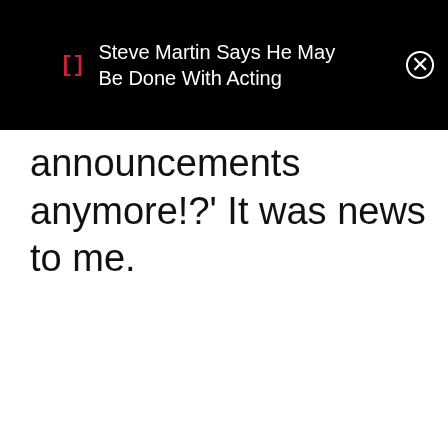[Figure (screenshot): Mobile notification banner overlaid on black background, showing a red bracket icon '[]', the text 'Steve Martin Says He May Be Done With Acting' in white, and a circular close (X) button.]
announcements anymore!?' It was news to me.